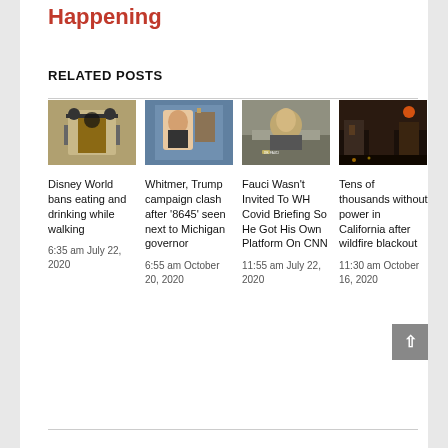Happening
RELATED POSTS
[Figure (photo): Disney World gate with Mickey Mouse silhouette]
Disney World bans eating and drinking while walking
6:35 am July 22, 2020
[Figure (photo): Woman speaking on video call with bookshelf background]
Whitmer, Trump campaign clash after '8645' seen next to Michigan governor
6:55 am October 20, 2020
[Figure (photo): Dr. Fauci seated at hearing table with nameplate]
Fauci Wasn't Invited To WH Covid Briefing So He Got His Own Platform On CNN
11:55 am July 22, 2020
[Figure (photo): Night scene of buildings during California wildfire blackout]
Tens of thousands without power in California after wildfire blackout
11:30 am October 16, 2020